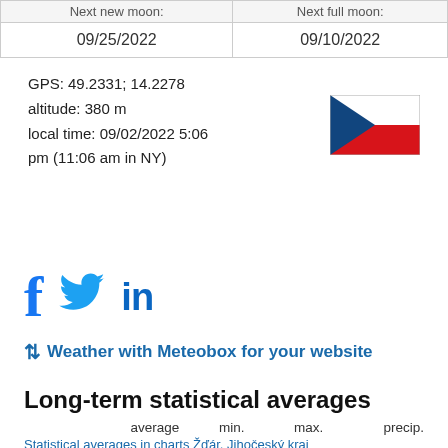| Next new moon: | Next full moon: |
| --- | --- |
| 09/25/2022 | 09/10/2022 |
GPS: 49.2331; 14.2278
altitude: 380 m
local time: 09/02/2022 5:06 pm (11:06 am in NY)
[Figure (illustration): Czech Republic flag — white top half, red bottom half, blue triangle on left]
[Figure (logo): Facebook, Twitter, LinkedIn social media icons]
⇅ Weather with Meteobox for your website
Long-term statistical averages
average    min.    max.    precip.
Statistical averages in charts Žďár, Jihočeský kraj